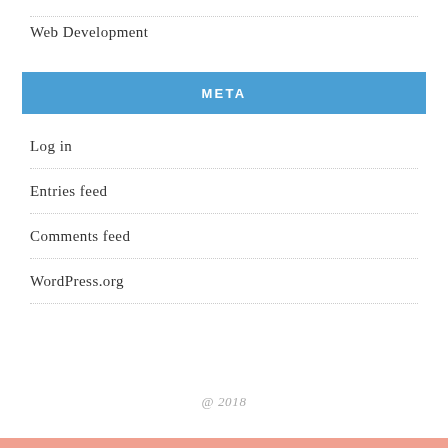Web Development
META
Log in
Entries feed
Comments feed
WordPress.org
@ 2018